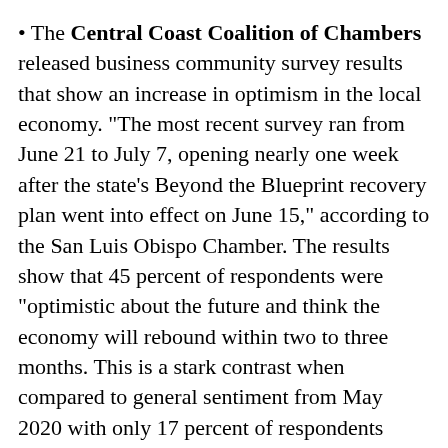The Central Coast Coalition of Chambers released business community survey results that show an increase in optimism in the local economy. "The most recent survey ran from June 21 to July 7, opening nearly one week after the state's Beyond the Blueprint recovery plan went into effect on June 15," according to the San Luis Obispo Chamber. The results show that 45 percent of respondents were "optimistic about the future and think the economy will rebound within two to three months. This is a stark contrast when compared to general sentiment from May 2020 with only 17 percent of respondents feeling optimistic." Jim Dantona, chair of the Central Coast Coalition of Chambers, said in a statement that the coalition "will continue to advocate for business-friendly policies throughout the...